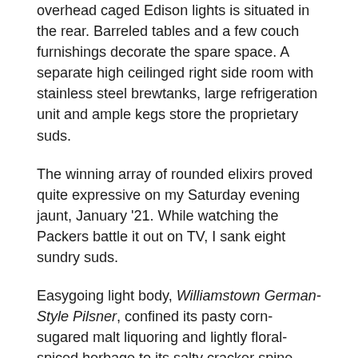overhead caged Edison lights is situated in the rear. Barreled tables and a few couch furnishings decorate the spare space. A separate high ceilinged right side room with stainless steel brewtanks, large refrigeration unit and ample kegs store the proprietary suds.
The winning array of rounded elixirs proved quite expressive on my Saturday evening jaunt, January '21. While watching the Packers battle it out on TV, I sank eight sundry suds.
Easygoing light body, Williamstown German-Style Pilsner, confined its pasty corn-sugared malt liquoring and lightly floral-spiced herbage to its salty cracker spine.
Banana-spiced cotton candy sweetness enjoined brisk orange zesting to contrast pungent herbal hop astringency and salty phenols lingering thru the fruitful frontage of The Journey, a peppy Belgian Blonde Ale.